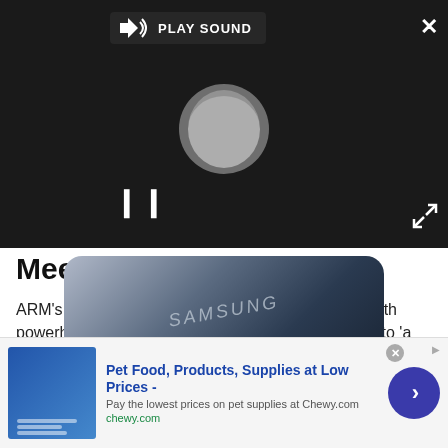[Figure (screenshot): Video player overlay with dark background, PLAY SOUND button, loading spinner, pause button, close X button and expand icon]
Meeting of minds
ARM's executives have forged a vital relationship with powerhouse Samsung, something Steele put down to 'a meeting of minds' and flagship phones like the Galaxy S3 have proved massively important
[Figure (photo): Samsung Galaxy S3 smartphone partially visible from top-right angle]
Pet Food, Products, Supplies at Low Prices - Pay the lowest prices on pet supplies at Chewy.com chewy.com